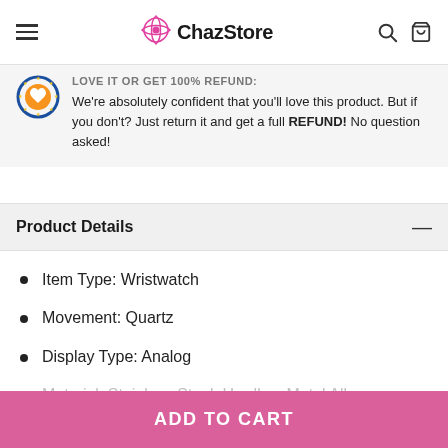ChazStore
LOVE IT OR GET 100% REFUND! We're absolutely confident that you'll love this product. But if you don't? Just return it and get a full REFUND! No question asked!
Product Details
Item Type: Wristwatch
Movement: Quartz
Display Type: Analog
Material: Stainless Steel, Hardlex, Metal Alloy
ADD TO CART